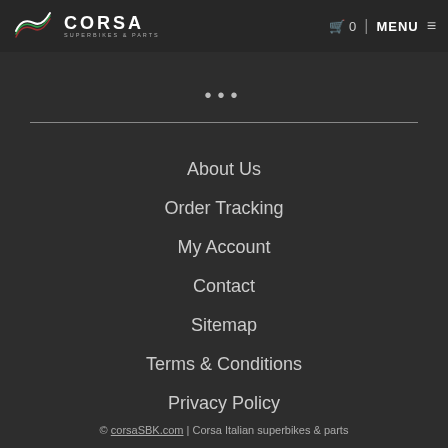CORSA SUPERBIKES & PARTS | 0 | MENU
...
About Us
Order Tracking
My Account
Contact
Sitemap
Terms & Conditions
Privacy Policy
© corsaSBK.com | Corsa Italian superbikes & parts